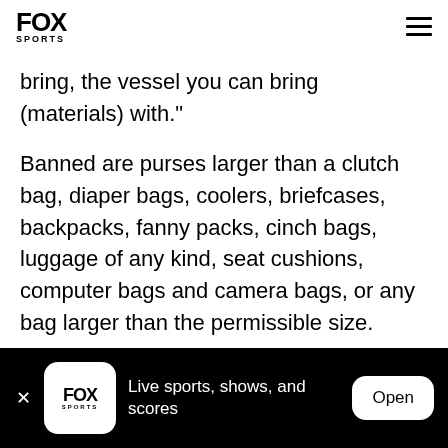FOX SPORTS
bring, the vessel you can bring (materials) with."
Banned are purses larger than a clutch bag, diaper bags, coolers, briefcases, backpacks, fanny packs, cinch bags, luggage of any kind, seat cushions, computer bags and camera bags, or any bag larger than the permissible size.
"This is the right thing to do from a public safety
Live sports, shows, and scores  Open